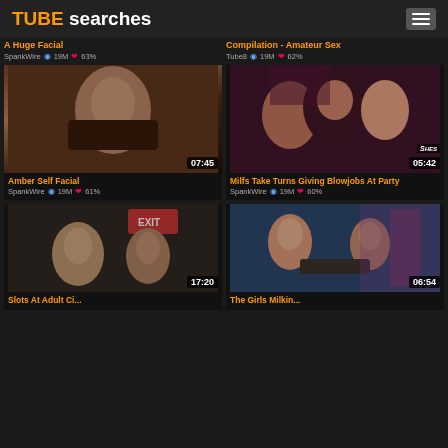TUBE searches
A Huge Facial — SpankWire 👁 19M ❤ 63%
Compilation - Amateur Sex — Tube8 👁 19M ❤ 62%
[Figure (photo): Video thumbnail - Amber Self Facial, duration 07:45]
Amber Self Facial — SpankWire 👁 19M ❤ 61%
[Figure (photo): Video thumbnail - Milfs Take Turns Giving Blowjobs At Party, duration 05:42, Shes watermark]
Milfs Take Turns Giving Blowjobs At Party — SpankWire 👁 19M ❤ 60%
[Figure (photo): Video thumbnail - Slots At Adult Cinema, duration 17:20]
[Figure (photo): Video thumbnail - The Girls Milking That Girl, duration 06:54]